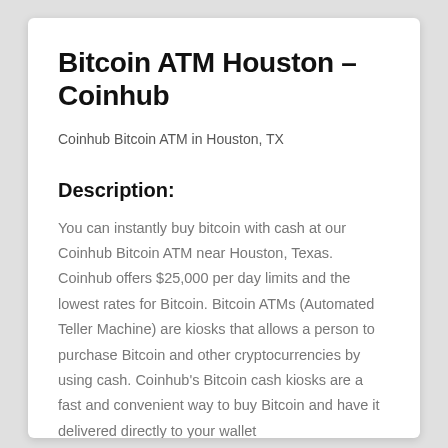Bitcoin ATM Houston – Coinhub
Coinhub Bitcoin ATM in Houston, TX
Description:
You can instantly buy bitcoin with cash at our Coinhub Bitcoin ATM near Houston, Texas. Coinhub offers $25,000 per day limits and the lowest rates for Bitcoin. Bitcoin ATMs (Automated Teller Machine) are kiosks that allows a person to purchase Bitcoin and other cryptocurrencies by using cash. Coinhub's Bitcoin cash kiosks are a fast and convenient way to buy Bitcoin and have it delivered directly to your wallet